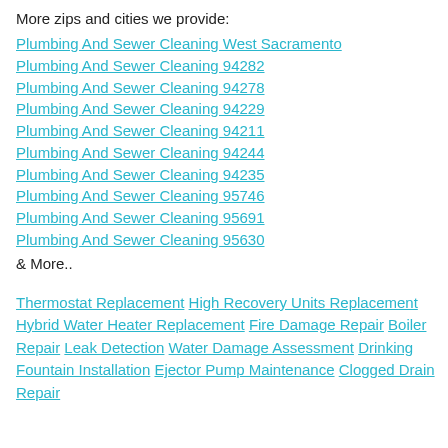More zips and cities we provide:
Plumbing And Sewer Cleaning West Sacramento
Plumbing And Sewer Cleaning 94282
Plumbing And Sewer Cleaning 94278
Plumbing And Sewer Cleaning 94229
Plumbing And Sewer Cleaning 94211
Plumbing And Sewer Cleaning 94244
Plumbing And Sewer Cleaning 94235
Plumbing And Sewer Cleaning 95746
Plumbing And Sewer Cleaning 95691
Plumbing And Sewer Cleaning 95630
& More..
Thermostat Replacement High Recovery Units Replacement Hybrid Water Heater Replacement Fire Damage Repair Boiler Repair Leak Detection Water Damage Assessment Drinking Fountain Installation Ejector Pump Maintenance Clogged Drain Repair